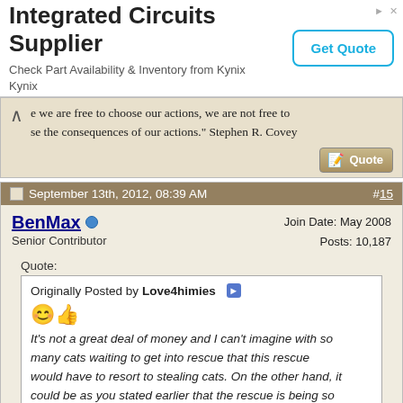[Figure (other): Advertisement banner: 'Integrated Circuits Supplier' from Kynix with a 'Get Quote' button.]
e we are free to choose our actions, we are not free to se the consequences of our actions." Stephen R. Covey
[Figure (other): Quote reply button with pencil icon.]
September 13th, 2012, 08:39 AM  #15
BenMax
Senior Contributor
Join Date: May 2008
Posts: 10,187
Quote:
Originally Posted by Love4himies
It's not a great deal of money and I can't imagine with so many cats waiting to get into rescue that this rescue would have to resort to stealing cats. On the other hand, it could be as you stated earlier that the rescue is being so overly controlling about what is acceptable living conditions for pets.
Technically the rescue did not steal the cats. The cats were handed over. As there is no paperwork with intent, then it's been...